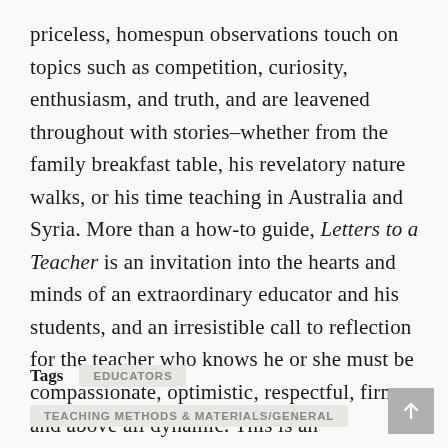priceless, homespun observations touch on topics such as competition, curiosity, enthusiasm, and truth, and are leavened throughout with stories–whether from the family breakfast table, his revelatory nature walks, or his time teaching in Australia and Syria. More than a how-to guide, Letters to a Teacher is an invitation into the hearts and minds of an extraordinary educator and his students, and an irresistible call to reflection for the teacher who knows he or she must be compassionate, optimistic, respectful, firm, and above all dynamic. This is an indispensable guide for teachers and layman alike.
Tags   EDUCATORS
TEACHING METHODS & MATERIALS/GENERAL